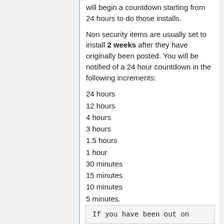will begin a countdown starting from 24 hours to do those installs.
Non security items are usually set to install 2 weeks after they have originally been posted. You will be notified of a 24 hour countdown in the following increments:
24 hours
12 hours
4 hours
3 hours
1.5 hours
1 hour
30 minutes
15 minutes
10 minutes
5 minutes.
If you have been out on